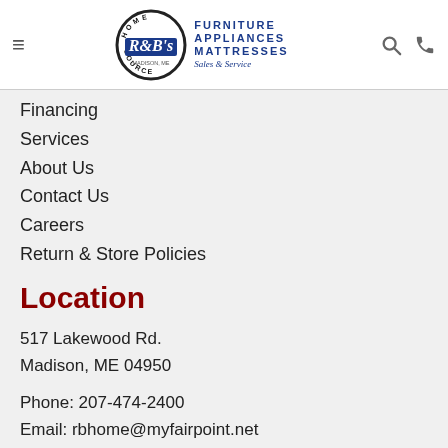[Figure (logo): R&B's Home Source logo with circular badge (HOME/SOURCE text around rim), blue rectangle with R&B's in white italic, and Furniture Appliances Mattresses Sales & Service text to the right]
Financing
Services
About Us
Contact Us
Careers
Return & Store Policies
Location
517 Lakewood Rd.
Madison, ME 04950
Phone: 207-474-2400
Email: rbhome@myfairpoint.net